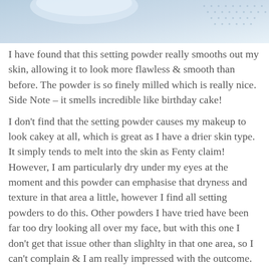[Figure (photo): Partial photo of a setting powder product with light blue/white background and decorative dotted pattern]
I have found that this setting powder really smooths out my skin, allowing it to look more flawless & smooth than before. The powder is so finely milled which is really nice. Side Note – it smells incredible like birthday cake!
I don't find that the setting powder causes my makeup to look cakey at all, which is great as I have a drier skin type. It simply tends to melt into the skin as Fenty claim! However, I am particularly dry under my eyes at the moment and this powder can emphasise that dryness and texture in that area a little, however I find all setting powders to do this. Other powders I have tried have been far too dry looking all over my face, but with this one I don't get that issue other than slighlty in that one area, so I can't complain & I am really impressed with the outcome.
I have found that this setting gunpowder truly smooths out